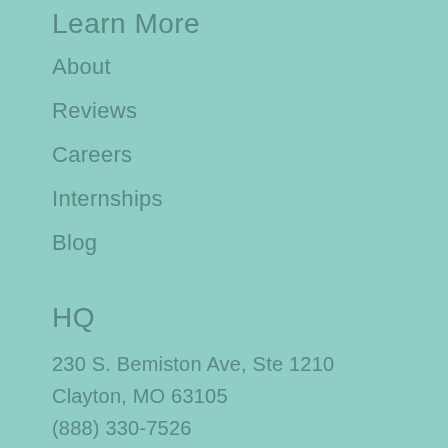Learn More
About
Reviews
Careers
Internships
Blog
HQ
230 S. Bemiston Ave, Ste 1210
Clayton, MO 63105
(888) 330-7526
#weareslam
You know where you want to go, but you don't have the